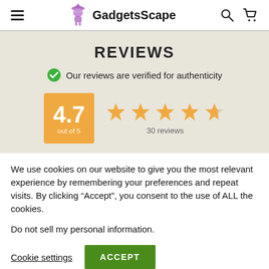GadgetsScape
REVIEWS
Our reviews are verified for authenticity
[Figure (infographic): Rating box showing 4.7 out of 5 with 5 orange stars and 30 reviews]
We use cookies on our website to give you the most relevant experience by remembering your preferences and repeat visits. By clicking “Accept”, you consent to the use of ALL the cookies.
Do not sell my personal information.
Cookie settings  ACCEPT